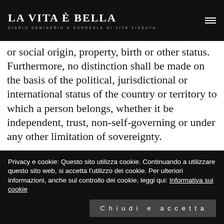LA VITA È BELLA — DIARIO SEMISERIO E SURREALE DI VITA VISSUTA
freedoms set forth in this Declaration, without distinction of any kind, such as race, colour, sex, language, religion, political or other opinion, national or social origin, property, birth or other status. Furthermore, no distinction shall be made on the basis of the political, jurisdictional or international status of the country or territory to which a person belongs, whether it be independent, trust, non-self-governing or under any other limitation of sovereignty.
Article 3. Everyone has the right to life, liberty and security of person.
Privacy e cookie: Questo sito utilizza cookie. Continuando a utilizzare questo sito web, si accetta l'utilizzo dei cookie. Per ulteriori informazioni, anche sul controllo dei cookie, leggi qui: Informativa sui cookie
Chiudi e accetta